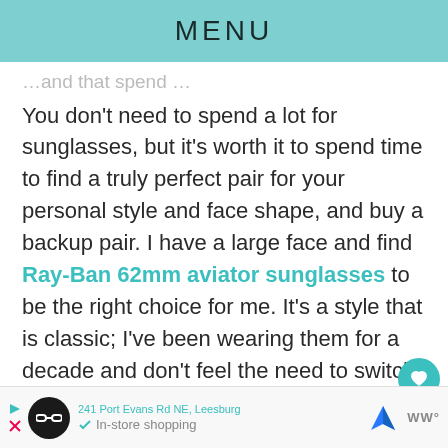MENU
You don't need to spend a lot for sunglasses, but it's worth it to spend time to find a truly perfect pair for your personal style and face shape, and buy a backup pair. I have a large face and find Ray-Ban 62mm aviator sunglasses to be the right choice for me. It's a style that is classic; I've been wearing them for a decade and don't feel the need to switch them out with current trends. Finding a classic style or a brand that fits your face nicely makes purchasing replacements eas and increases your personal style.
[Figure (screenshot): Advertisement banner with address '241 Port Evans Rd NE, Leesburg', circular black brand icon, blue navigation arrow icon, In-store shopping text with checkmark, and Waze-style icon.]